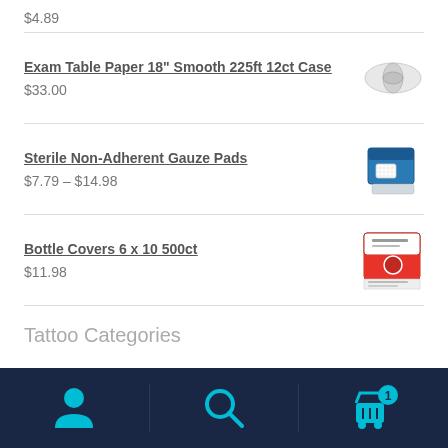$4.89
Exam Table Paper 18" Smooth 225ft 12ct Case — $33.00
Sterile Non-Adherent Gauze Pads — $7.79 – $14.98
Bottle Covers 6 x 10 500ct — $11.98
Tattoo Categories
[Figure (screenshot): Bottom navigation bar with user/account icon, search icon, and shopping cart icon with badge showing 1 item]